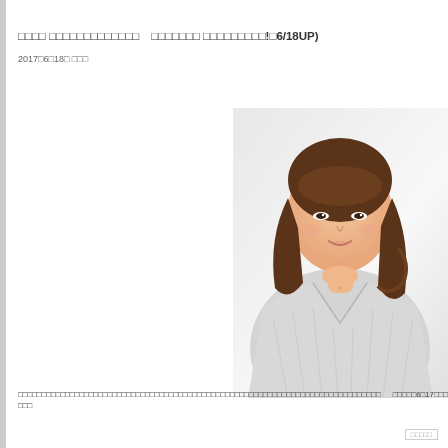□□□□ □□□□□□□□□□□□□　□□□□□□□ □□□□□□□□□!□6/18UP)
2017□6□18□ □□□
[Figure (photo): Portrait photo of a Japanese woman with brown shoulder-length wavy hair, wearing a light grey/white V-neck ribbed sweater, smiling, on a white background]
□□□□□□□□□□□□□□□□□□□□□□□□□□□□□□□□□□□□□□□□□□□□□□□□□□□□□□□□□□□□□□□□□□□□□□□□□□□□□
□□□□□6□17□□□□□□□□□□JR□□□□□□□□□□
□□□